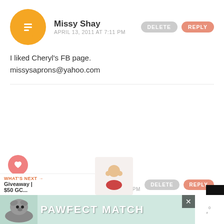Missy Shay
APRIL 13, 2011 AT 7:11 PM
I liked Cheryl's FB page.
missysaprons@yahoo.com
Missy Shay
APRIL 13, 2011 AT 7:12 PM
I have followed your FB page for quite a while!
WHAT'S NEXT → Giveaway | $50 GC...
[Figure (other): PAWFECT MATCH advertisement banner with dog image]